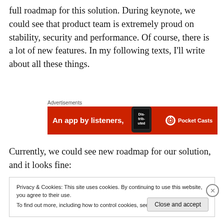full roadmap for this solution. During keynote, we could see that product team is extremely proud on stability, security and performance. Of course, there is a lot of new features. In my following texts, I'll write about all these things.
[Figure (other): Advertisements banner for Pocket Casts app — red background with text 'An app by listeners,' and phone graphic on right side with Pocket Casts logo and name.]
Currently, we could see new roadmap for our solution, and it looks fine:
Privacy & Cookies: This site uses cookies. By continuing to use this website, you agree to their use.
To find out more, including how to control cookies, see here: Cookie Policy